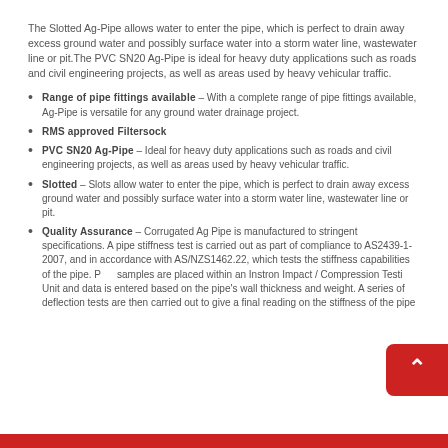The Slotted Ag-Pipe allows water to enter the pipe, which is perfect to drain away excess ground water and possibly surface water into a storm water line, wastewater line or pit. The PVC SN20 Ag-Pipe is ideal for heavy duty applications such as roads and civil engineering projects, as well as areas used by heavy vehicular traffic.
Range of pipe fittings available – With a complete range of pipe fittings available, Ag-Pipe is versatile for any ground water drainage project.
RMS approved Filtersock
PVC SN20 Ag-Pipe – Ideal for heavy duty applications such as roads and civil engineering projects, as well as areas used by heavy vehicular traffic.
Slotted – Slots allow water to enter the pipe, which is perfect to drain away excess ground water and possibly surface water into a storm water line, wastewater line or pit.
Quality Assurance – Corrugated Ag Pipe is manufactured to stringent specifications. A pipe stiffness test is carried out as part of compliance to AS2439-1-2007, and in accordance with AS/NZS1462.22, which tests the stiffness capabilities of the pipe. Pipe samples are placed within an Instron Impact / Compression Testing Unit and data is entered based on the pipe's wall thickness and weight. A series of deflection tests are then carried out to give a final reading on the stiffness of the pipe